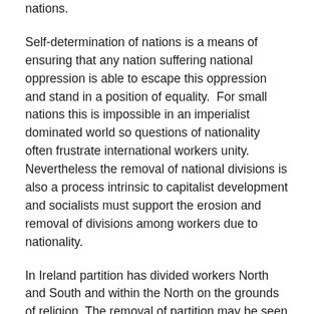nations.
Self-determination of nations is a means of ensuring that any nation suffering national oppression is able to escape this oppression and stand in a position of equality.  For small nations this is impossible in an imperialist dominated world so questions of nationality often frustrate international workers unity.  Nevertheless the removal of national divisions is also a process intrinsic to capitalist development and socialists must support the erosion and removal of divisions among workers due to nationality.
In Ireland partition has divided workers North and South and within the North on the grounds of religion. The removal of partition may be seen as part of a democratic process to remove the foundations of this division.  In principle partition and its associated divisions could just as well be undermined by a united polity across Britain and